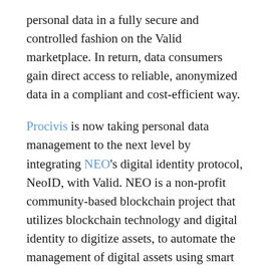personal data in a fully secure and controlled fashion on the Valid marketplace. In return, data consumers gain direct access to reliable, anonymized data in a compliant and cost-efficient way.
Procivis is now taking personal data management to the next level by integrating NEO's digital identity protocol, NeoID, with Valid. NEO is a non-profit community-based blockchain project that utilizes blockchain technology and digital identity to digitize assets, to automate the management of digital assets using smart contracts, and to realize a “smart economy” with a distributed network.
Along with the integration comes a strategic